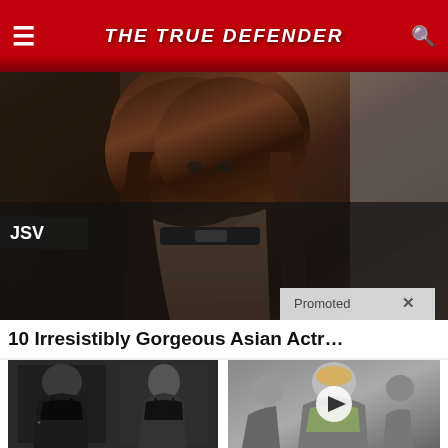THE TRUE DEFENDER
[Figure (photo): A glamorous woman with long brown hair wearing a black choker collar, photographed in dramatic lighting. A small dark badge reads 'JSV' in the lower left.]
Promoted ×
10 Irresistibly Gorgeous Asian Actr…
[Figure (photo): Before and after photos showing two women viewed from behind wearing black swimwear, illustrating weight loss.]
How To Lose 40.5 Lbs In A Month (Eat This Once Every Day)
🔥 72,012
[Figure (photo): Video thumbnail showing a political figure, with a play button overlay.]
Nancy Pelosi Wants This Video Destroyed — Watch Now Before It's Banned
🔥 1,408,011